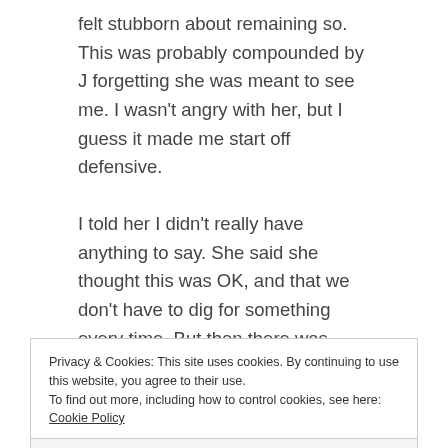felt stubborn about remaining so. This was probably compounded by J forgetting she was meant to see me. I wasn't angry with her, but I guess it made me start off defensive.
I told her I didn't really have anything to say. She said she thought this was OK, and that we don't have to dig for something every time. But then there was silence. I hated that, it made me retreat even further because if we are not talking, I feel so isolated.
I speak about my isolation often with her. My inability
Privacy & Cookies: This site uses cookies. By continuing to use this website, you agree to their use.
To find out more, including how to control cookies, see here: Cookie Policy
Close and accept